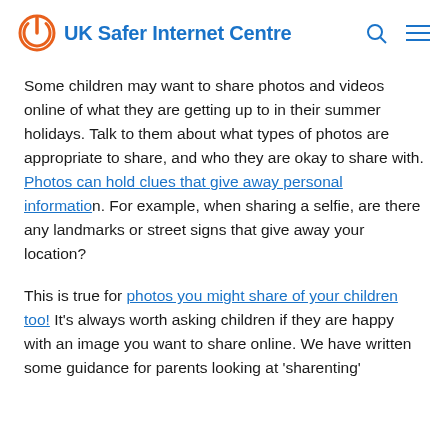UK Safer Internet Centre
Some children may want to share photos and videos online of what they are getting up to in their summer holidays. Talk to them about what types of photos are appropriate to share, and who they are okay to share with. Photos can hold clues that give away personal information. For example, when sharing a selfie, are there any landmarks or street signs that give away your location?
This is true for photos you might share of your children too! It's always worth asking children if they are happy with an image you want to share online. We have written some guidance for parents looking at 'sharenting'